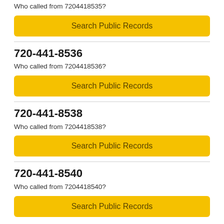Who called from 7204418535?
Search Public Records
720-441-8536
Who called from 7204418536?
Search Public Records
720-441-8538
Who called from 7204418538?
Search Public Records
720-441-8540
Who called from 7204418540?
Search Public Records